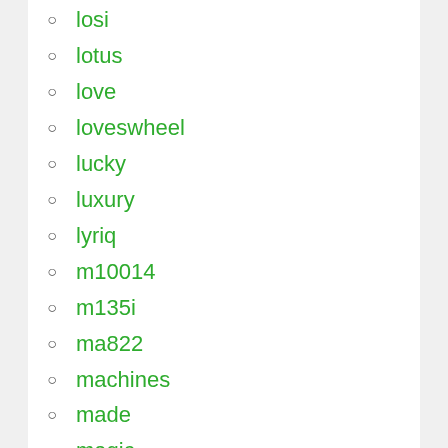losi
lotus
love
loveswheel
lucky
luxury
lyriq
m10014
m135i
ma822
machines
made
magic
magnaflow
make
making
mandala
mark